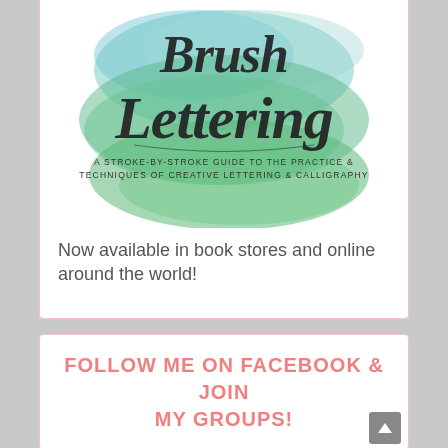[Figure (illustration): Book cover of 'Brush Lettering: A Stroke-by-Stroke Guide to the Practice & Techniques of Creative Lettering & Calligraphy' with watercolor teal/green background and brush script lettering]
Now available in book stores and online around the world!
FOLLOW ME ON FACEBOOK & JOIN MY GROUPS!